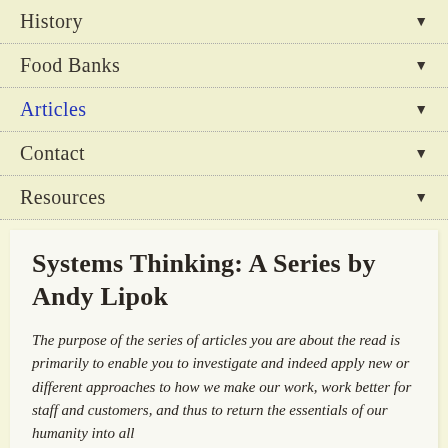History ▾
Food Banks ▾
Articles ▾
Contact ▾
Resources ▾
Systems Thinking: A Series by Andy Lipok
The purpose of the series of articles you are about the read is primarily to enable you to investigate and indeed apply new or different approaches to how we make our work, work better for staff and customers, and thus to return the essentials of our humanity into all